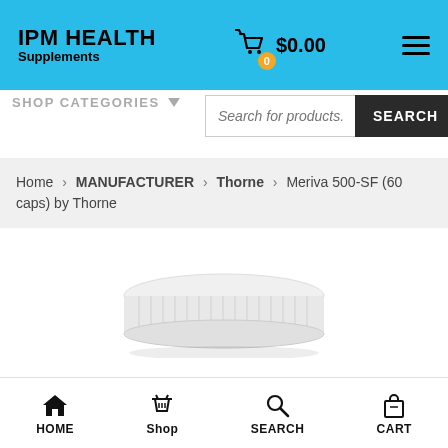IPM HEALTH Supplements | $0.00
SHOP CATEGORIES
Search for products...
Home > MANUFACTURER > Thorne > Meriva 500-SF (60 caps) by Thorne
[Figure (photo): White plastic bottle cap/lid of supplement container, viewed from slightly above, on white background with subtle shadow]
HOME | Shop | SEARCH | CART